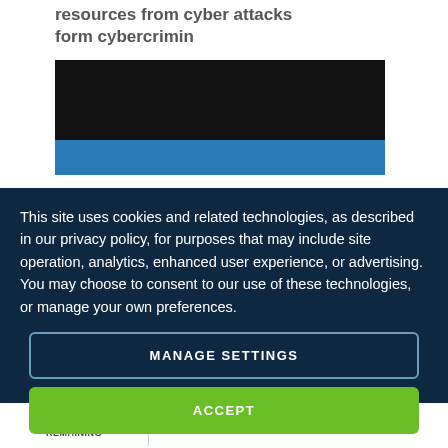resources from cyber attacks form cybercrimin
[Figure (photo): Partially visible image with black upper section and blue lower section, related to cybersecurity article]
This site uses cookies and related technologies, as described in our privacy policy, for purposes that may include site operation, analytics, enhanced user experience, or advertising. You may choose to consent to our use of these technologies, or manage your own preferences.
MANAGE SETTINGS
ACCEPT
9 TOPICS REMAINING
Register for unlimited browsing. Registration is FREE.